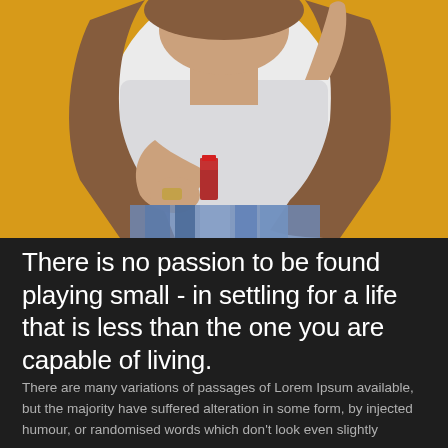[Figure (photo): A young woman with long brown hair wearing a white perforated top and a colorful skirt, holding a red lipstick, posing against a bright yellow background with one hand raised.]
There is no passion to be found playing small - in settling for a life that is less than the one you are capable of living.
There are many variations of passages of Lorem Ipsum available, but the majority have suffered alteration in some form, by injected humour, or randomised words which don't look even slightly believable. After...